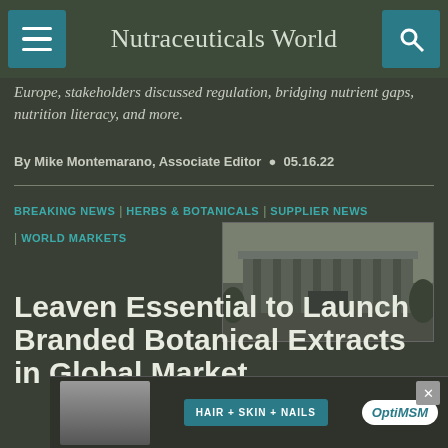Nutraceuticals World
Europe, stakeholders discussed regulation, bridging nutrient gaps, nutrition literacy, and more.
By Mike Montemarano, Associate Editor  •  05.16.22
BREAKING NEWS | HERBS & BOTANICALS | SUPPLIER NEWS | WORLD MARKETS
[Figure (photo): Exterior photo of a modern conference building]
Leaven Essential to Launch Branded Botanical Extracts in Global Markets
[Figure (photo): Advertisement banner: HAIR + SKIN + NAILS, OptiMSM logo]